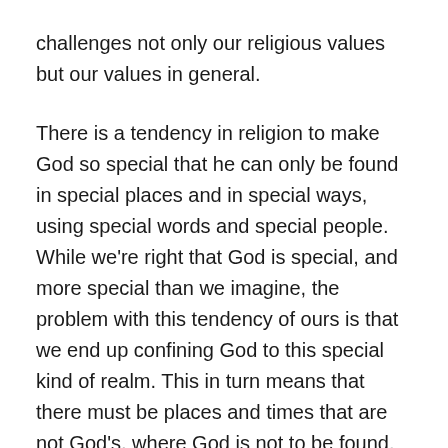challenges not only our religious values but our values in general.
There is a tendency in religion to make God so special that he can only be found in special places and in special ways, using special words and special people. While we're right that God is special, and more special than we imagine, the problem with this tendency of ours is that we end up confining God to this special kind of realm. This in turn means that there must be places and times that are not God's, where God is not to be found. So if we have the Lord's day, that leaves six that aren't. If we have God's house, that leaves a lot that aren't. So for one thing we think that God just isn't around in the bulk of our lives – our everyday lives. And for another, we might be tempted to think that God can't see what we're up to most of the time. It's why many